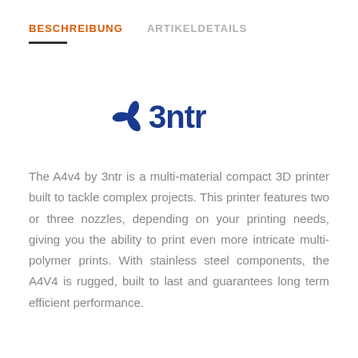BESCHREIBUNG   ARTIKELDETAILS
[Figure (logo): 3ntr brand logo with a three-blade fan icon and the text '3ntr' in dark blue]
The A4v4 by 3ntr is a multi-material compact 3D printer built to tackle complex projects. This printer features two or three nozzles, depending on your printing needs, giving you the ability to print even more intricate multi-polymer prints. With stainless steel components, the A4V4 is rugged, built to last and guarantees long term efficient performance.